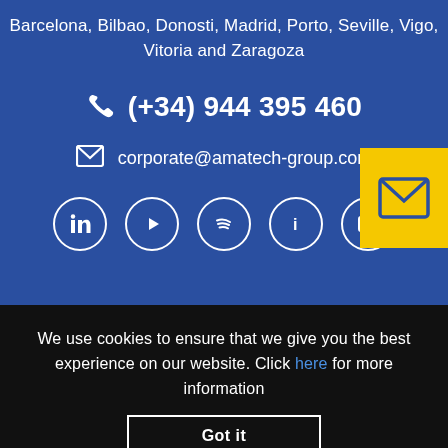Barcelona, Bilbao, Donosti, Madrid, Porto, Seville, Vigo, Vitoria and Zaragoza
(+34) 944 395 460
corporate@amatech-group.com
[Figure (illustration): Social media icons: LinkedIn, YouTube, Spotify, info, and another circular icon]
[Figure (illustration): Yellow box with envelope/mail icon]
We use cookies to ensure that we give you the best experience on our website. Click here for more information
Got it